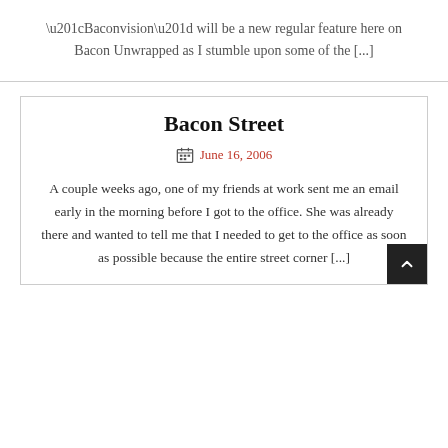“Baconvision” will be a new regular feature here on Bacon Unwrapped as I stumble upon some of the [...]
Bacon Street
June 16, 2006
A couple weeks ago, one of my friends at work sent me an email early in the morning before I got to the office. She was already there and wanted to tell me that I needed to get to the office as soon as possible because the entire street corner [...]